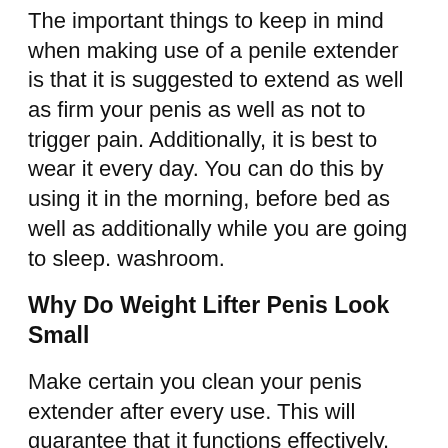The important things to keep in mind when making use of a penile extender is that it is suggested to extend as well as firm your penis as well as not to trigger pain. Additionally, it is best to wear it every day. You can do this by using it in the morning, before bed as well as additionally while you are going to sleep. washroom.
Why Do Weight Lifter Penis Look Small
Make certain you clean your penis extender after every use. This will guarantee that it functions effectively. Your body is mosting likely to experience some irritation, but this is normal for a lot of devices. You can merely take a couple of additional minutes to do this to aid stay clear of any type of discomfort.